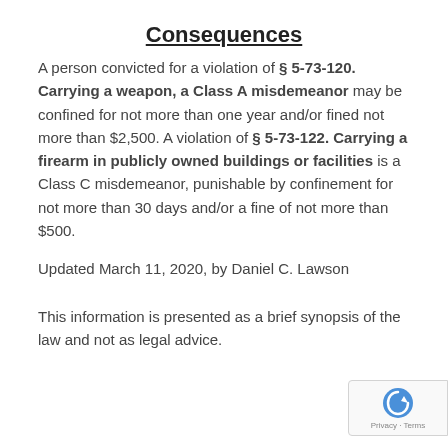Consequences
A person convicted for a violation of § 5-73-120. Carrying a weapon, a Class A misdemeanor may be confined for not more than one year and/or fined not more than $2,500. A violation of § 5-73-122. Carrying a firearm in publicly owned buildings or facilities is a Class C misdemeanor, punishable by confinement for not more than 30 days and/or a fine of not more than $500.
Updated March 11, 2020, by Daniel C. Lawson
This information is presented as a brief synopsis of the law and not as legal advice.